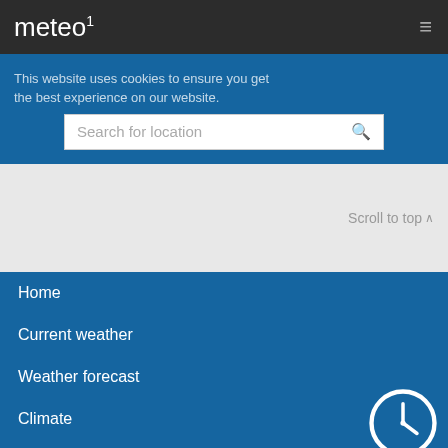meteo¹
This website uses cookies to ensure you get the best experience on our website.
Search for location
Scroll to top
Home
Current weather
Weather forecast
Climate
Legal notice
Terms and conditions
Privacy Policy
Contact us